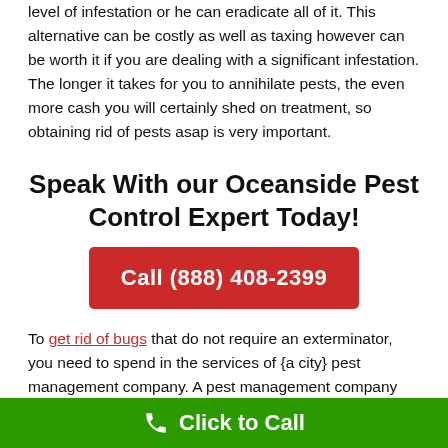level of infestation or he can eradicate all of it. This alternative can be costly as well as taxing however can be worth it if you are dealing with a significant infestation. The longer it takes for you to annihilate pests, the even more cash you will certainly shed on treatment, so obtaining rid of pests asap is very important.
Speak With our Oceanside Pest Control Expert Today!
[Figure (other): Red call-to-action button with text 'Call (888) 408-2399']
To get rid of bugs that do not require an exterminator, you need to spend in the services of {a city} pest management company. A pest management company has workers that
Click to Call